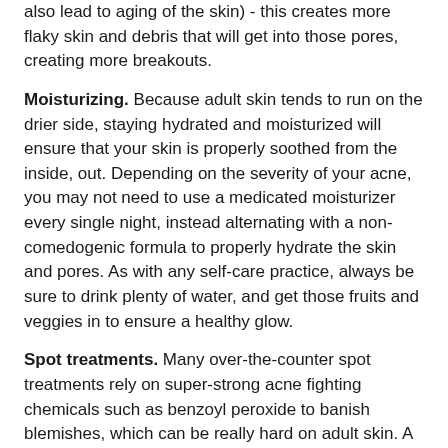also lead to aging of the skin) - this creates more flaky skin and debris that will get into those pores, creating more breakouts.
Moisturizing. Because adult skin tends to run on the drier side, staying hydrated and moisturized will ensure that your skin is properly soothed from the inside, out. Depending on the severity of your acne, you may not need to use a medicated moisturizer every single night, instead alternating with a non-comedogenic formula to properly hydrate the skin and pores. As with any self-care practice, always be sure to drink plenty of water, and get those fruits and veggies in to ensure a healthy glow.
Spot treatments. Many over-the-counter spot treatments rely on super-strong acne fighting chemicals such as benzoyl peroxide to banish blemishes, which can be really hard on adult skin. A clay or sulphur based formula may be much less harsh and even healthier for the skin. Please keep in mind however, these products are designed to help with symptoms, not break the cycle!